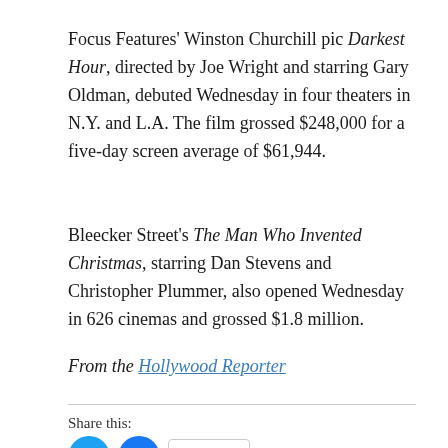Focus Features' Winston Churchill pic Darkest Hour, directed by Joe Wright and starring Gary Oldman, debuted Wednesday in four theaters in N.Y. and L.A. The film grossed $248,000 for a five-day screen average of $61,944.
Bleecker Street's The Man Who Invented Christmas, starring Dan Stevens and Christopher Plummer, also opened Wednesday in 626 cinemas and grossed $1.8 million.
From the Hollywood Reporter
Share this: